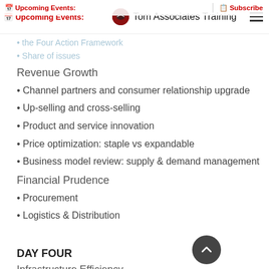Upcoming Events: | Tom Associates Training | Subscribe
the Four Action Framework
Share of issues
Revenue Growth
Channel partners and consumer relationship upgrade
Up-selling and cross-selling
Product and service innovation
Price optimization: staple vs expandable
Business model review: supply & demand management
Financial Prudence
Procurement
Logistics & Distribution
DAY FOUR
Infrastructure Efficiency
Reconfigure facilities